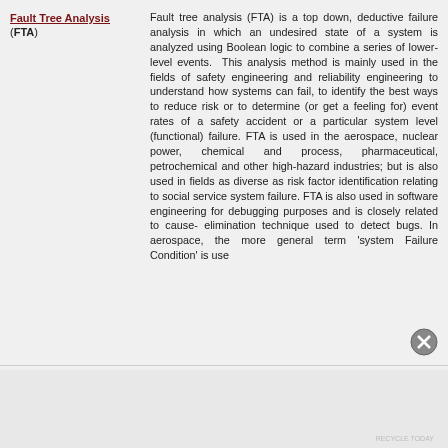Fault Tree Analysis (FTA)
Fault tree analysis (FTA) is a top down, deductive failure analysis in which an undesired state of a system is analyzed using Boolean logic to combine a series of lower-level events. This analysis method is mainly used in the fields of safety engineering and reliability engineering to understand how systems can fail, to identify the best ways to reduce risk or to determine (or get a feeling for) event rates of a safety accident or a particular system level (functional) failure. FTA is used in the aerospace, nuclear power, chemical and process, pharmaceutical, petrochemical and other high-hazard industries; but is also used in fields as diverse as risk factor identification relating to social service system failure. FTA is also used in software engineering for debugging purposes and is closely related to cause-elimination technique used to detect bugs. In aerospace, the more general term 'system Failure Condition' is use...
Advertisements